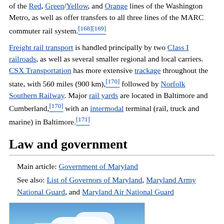of the Red, Green/Yellow, and Orange lines of the Washington Metro, as well as offer transfers to all three lines of the MARC commuter rail system.[168][169]
Freight rail transport is handled principally by two Class I railroads, as well as several smaller regional and local carriers. CSX Transportation has more extensive trackage throughout the state, with 560 miles (900 km),[170] followed by Norfolk Southern Railway. Major rail yards are located in Baltimore and Cumberland,[170] with an intermodal terminal (rail, truck and marine) in Baltimore.[171]
Law and government
Main article: Government of Maryland
See also: List of Governors of Maryland, Maryland Army National Guard, and Maryland Air National Guard
[Figure (photo): Photograph of the Maryland State House dome with trees and blue sky with clouds in background]